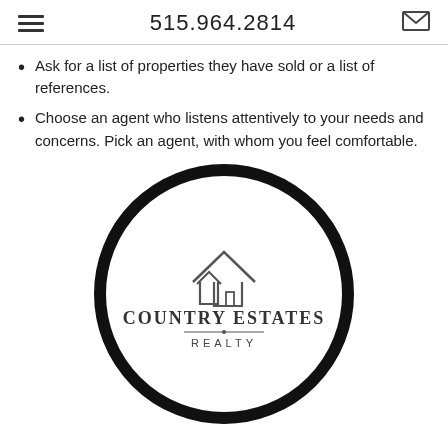515.964.2814
Ask for a list of properties they have sold or a list of references.
Choose an agent who listens attentively to your needs and concerns. Pick an agent, with whom you feel comfortable.
[Figure (logo): Country Estates Realty logo: a circle outline containing a house icon above the text 'COUNTRY ESTATES' and 'REALTY']